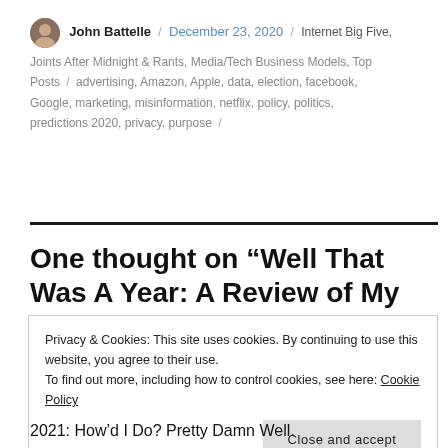John Battelle / December 23, 2020 / Internet Big Five, Joints After Midnight & Rants, Media/Tech Business Models, Top Posts / advertising, Amazon, Apple, data, election, facebook, Google, marketing, misinformation, netflix, policy, politics, predictions 2020, privacy, purpose /
One thought on “Well That Was A Year: A Review of My
Privacy & Cookies: This site uses cookies. By continuing to use this website, you agree to their use.
To find out more, including how to control cookies, see here: Cookie Policy
Close and accept
2021: How’d I Do? Pretty Damn Well.